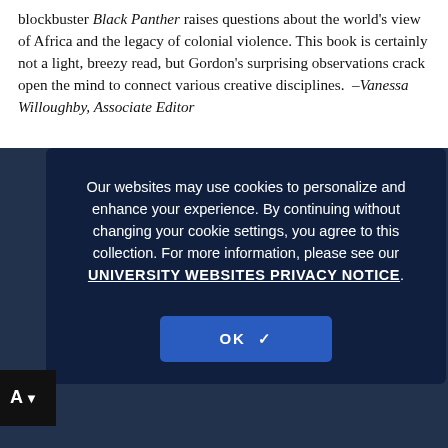blockbuster Black Panther raises questions about the world's view of Africa and the legacy of colonial violence. This book is certainly not a light, breezy read, but Gordon's surprising observations crack open the mind to connect various creative disciplines.  –Vanessa Willoughby, Associate Editor
Our websites may use cookies to personalize and enhance your experience. By continuing without changing your cookie settings, you agree to this collection. For more information, please see our UNIVERSITY WEBSITES PRIVACY NOTICE.
OK ✓